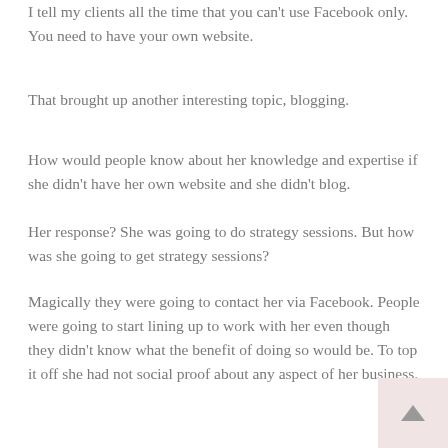I tell my clients all the time that you can't use Facebook only. You need to have your own website.
That brought up another interesting topic, blogging.
How would people know about her knowledge and expertise if she didn't have her own website and she didn't blog.
Her response? She was going to do strategy sessions. But how was she going to get strategy sessions?
Magically they were going to contact her via Facebook. People were going to start lining up to work with her even though they didn't know what the benefit of doing so would be. To top it off she had not social proof about any aspect of her business.
What does this have to do with your business?
Have you ever shopped on Amazon? I have. You know what I do when I look at a product I'm considering buying?